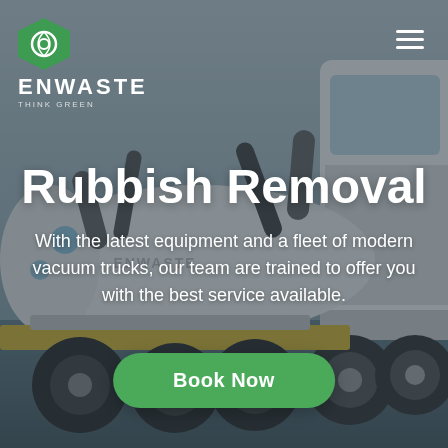[Figure (photo): Background photo of an Enwaste vacuum truck parked outdoors, with industrial hoses and equipment visible, muted blue-grey sky in background]
ENWASTE
Rubbish Removal
With the latest equipment and a fleet of modern vacuum trucks, our team are trained to offer you with the best service available.
Book Now